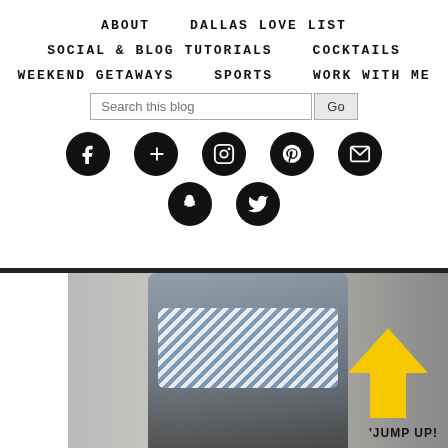ABOUT   DALLAS LOVE LIST   SOCIAL & BLOG TUTORIALS   COCKTAILS   WEEKEND GETAWAYS   SPORTS   WORK WITH ME
[Figure (screenshot): Blog navigation menu with social media icons (Facebook, Google+, Instagram, Pinterest, Email, Snapchat, Twitter) and a search bar]
[Figure (photo): Lower portion showing a person in overalls with a yellow upward arrow and text 'JUMP UP!']